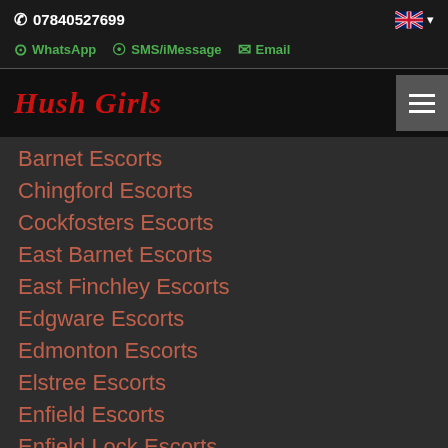07840527699
WhatsApp   SMS/iMessage   Email
Hush Girls
Barnet Escorts
Chingford Escorts
Cockfosters Escorts
East Barnet Escorts
East Finchley Escorts
Edgware Escorts
Edmonton Escorts
Elstree Escorts
Enfield Escorts
Enfield Lock Escorts
Finchley Escorts